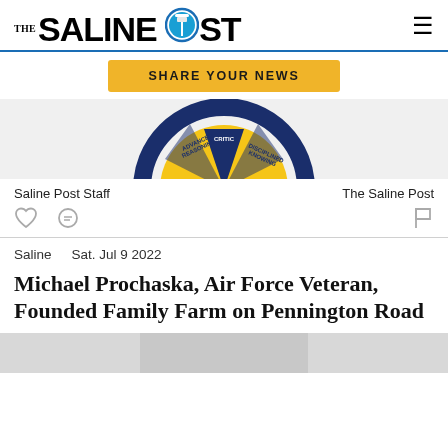THE SALINE POST
[Figure (logo): The Saline Post logo with lamp post icon in blue circle]
[Figure (other): Yellow Share Your News button]
[Figure (other): Partial circular emblem/badge with navy blue and gold colors, text including CRITICAL and ADVANCED REASONING]
Saline Post Staff
The Saline Post
Saline    Sat. Jul 9 2022
Michael Prochaska, Air Force Veteran, Founded Family Farm on Pennington Road
[Figure (photo): Bottom edge of a photograph, partially visible]